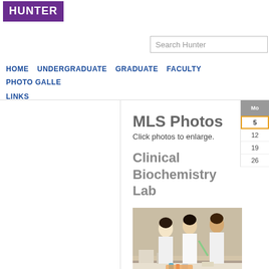HUNTER
Search Hunter
HOME  UNDERGRADUATE  GRADUATE  FACULTY  PHOTO GALLE...  LINKS
MLS Photos
Click photos to enlarge.
Clinical Biochemistry Lab
[Figure (photo): Students in white lab coats working at a laboratory bench with scientific equipment and samples.]